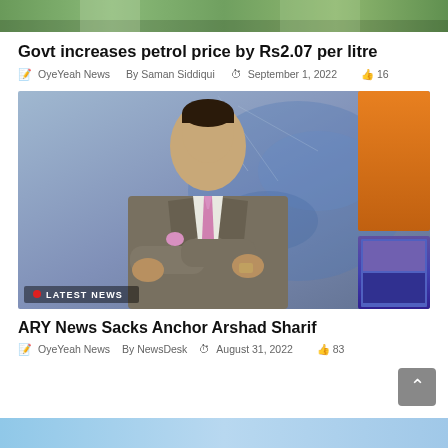[Figure (photo): Top cropped image strip showing greenery/landscape background]
Govt increases petrol price by Rs2.07 per litre
OyeYeah News  By Saman Siddiqui  September 1, 2022  16
[Figure (photo): News anchor in grey suit with pink tie standing with arms crossed in front of a news studio background with world map and orange/blue screens. Badge at bottom left reads LATEST NEWS.]
ARY News Sacks Anchor Arshad Sharif
OyeYeah News  By NewsDesk  August 31, 2022  83